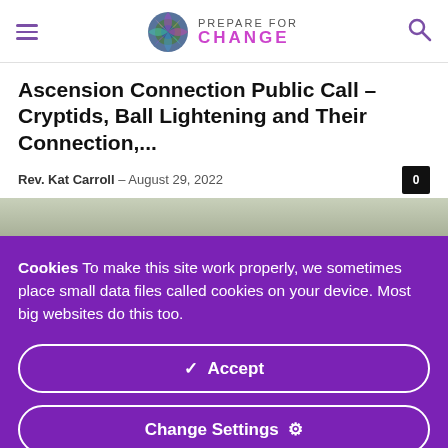PREPARE FOR CHANGE — navigation header with hamburger menu and search icon
Ascension Connection Public Call – Cryptids, Ball Lightening and Their Connection,...
Rev. Kat Carroll – August 29, 2022
[Figure (photo): Partial view of an article header image, greenish/grey landscape, mostly obscured by cookie overlay]
Cookies To make this site work properly, we sometimes place small data files called cookies on your device. Most big websites do this too.
✓ Accept
Change Settings ⚙